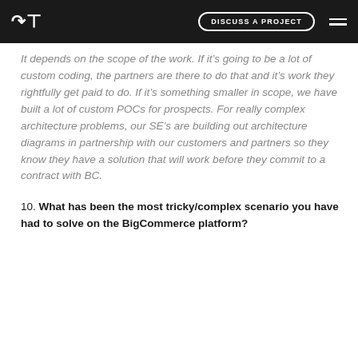DH | DISCUSS A PROJECT
It depends on the scope of the work. If it's going to be a lot of custom coding, the partners are there to do that and it's work they rightfully get paid to do. If it's something smaller in scope, we have built a lot of custom POCs for prospects. For really complex architecture problems, our SE's are building out architecture diagrams in partnership with our customers and partners so they know they have a solution that will work before they commit to a contract with BC.
10. What has been the most tricky/complex scenario you have had to solve on the BigCommerce platform?